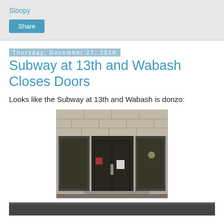Sloopy
Share
Thursday, December 27, 2018
Subway at 13th and Wabash Closes Doors
Looks like the Subway at 13th and Wabash is donzo:
[Figure (photo): Nighttime photo of a closed storefront with glass doors and windows, stone facade, a notice posted on the door — appears to be the closed Subway restaurant at 13th and Wabash.]
[Figure (photo): Partially visible second photo at the bottom of the page, appears dark/nighttime.]